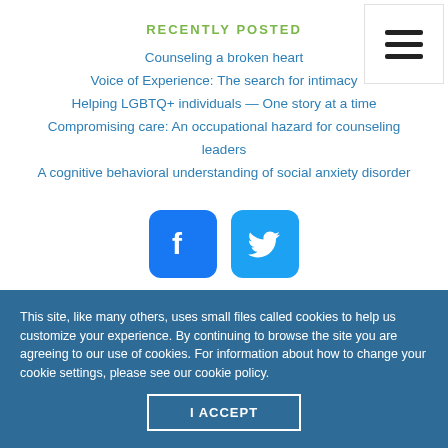RECENTLY POSTED
Counseling a broken heart
Voice of Experience: The search for intimacy
Helping LGBTQ+ individuals — One story at a time
Compromising care: An occupational hazard for counseling leaders
A cognitive behavioral understanding of social anxiety disorder
[Figure (logo): Facebook and Twitter social media icons (blue rounded square buttons)]
This site, like many others, uses small files called cookies to help us customize your experience. By continuing to browse the site you are agreeing to our use of cookies. For information about how to change your cookie settings, please see our cookie policy.
I ACCEPT